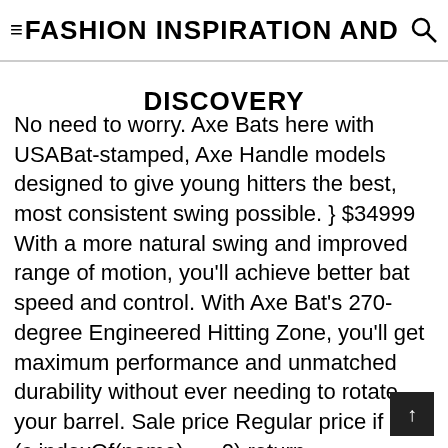≡FASHION INSPIRATION AND DISCOVERY
No need to worry. Axe Bats here with USABat-stamped, Axe Handle models designed to give young hitters the best, most consistent swing possible. } $34999 With a more natural swing and improved range of motion, you'll achieve better bat speed and control. With Axe Bat's 270-degree Engineered Hitting Zone, you'll get maximum performance and unmatched durability without ever needing to rotate your barrel. Sale price Regular price if (c.indexOf(name) == 0) return c.substring(name.length, c.length); ... Axe bat is